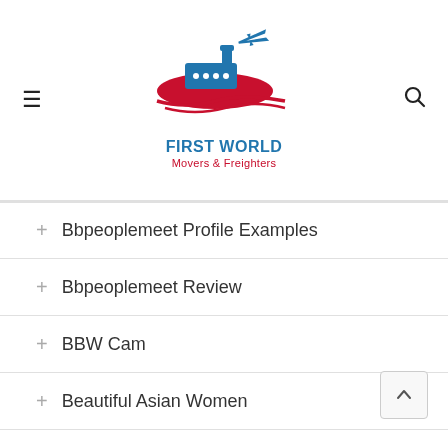[Figure (logo): First World Movers & Freighters logo with ship and airplane graphic in blue and red]
+ Bbpeoplemeet Profile Examples
+ Bbpeoplemeet Review
+ BBW Cam
+ Beautiful Asian Women
+ Beautiful Filipina Women
+ Beautiful Filipino N...